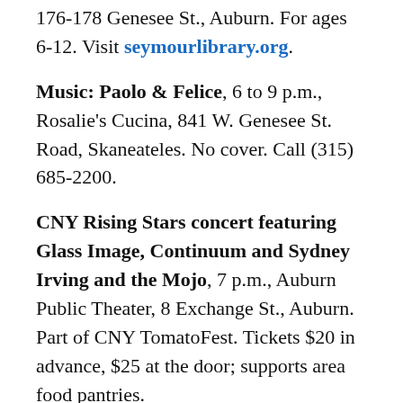176-178 Genesee St., Auburn. For ages 6-12. Visit seymourlibrary.org.
Music: Paolo & Felice, 6 to 9 p.m., Rosalie's Cucina, 841 W. Genesee St. Road, Skaneateles. No cover. Call (315) 685-2200.
CNY Rising Stars concert featuring Glass Image, Continuum and Sydney Irving and the Mojo, 7 p.m., Auburn Public Theater, 8 Exchange St., Auburn. Part of CNY TomatoFest. Tickets $20 in advance, $25 at the door; supports area food pantries. Visit cnytomatofest.org.
Music: Like a Hurricane, 7 p.m., Prison City Brewing, 251 North St., Auburn. Cover $3. Visit